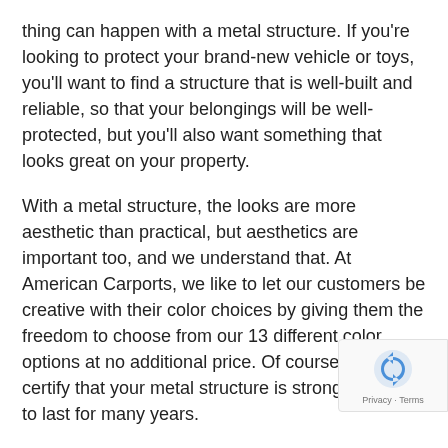thing can happen with a metal structure. If you're looking to protect your brand-new vehicle or toys, you'll want to find a structure that is well-built and reliable, so that your belongings will be well-protected, but you'll also want something that looks great on your property.
With a metal structure, the looks are more aesthetic than practical, but aesthetics are important too, and we understand that. At American Carports, we like to let our customers be creative with their color choices by giving them the freedom to choose from our 13 different color options at no additional price. Of course, we will certify that your metal structure is strong enough to last for many years.
With that being said, let us tease you with this 30' 36'Lx 12'H Side Entry Garage:
12 Gauge Galvanized Tubing